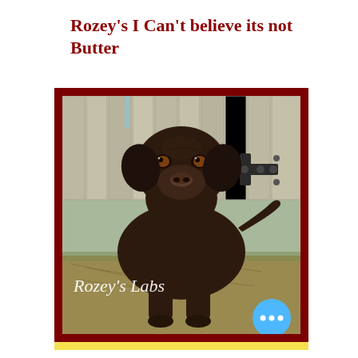Rozey's I Can't believe its not Butter
[Figure (photo): A chocolate Labrador Retriever dog standing outdoors in front of a wooden fence, looking at the camera. The photo has a dark red/maroon frame border. Text 'Rozey's Labs' is overlaid in white italic font at the bottom left of the image. A blue circular button with three dots appears at the bottom right. A yellow bar is visible at the very bottom of the frame.]